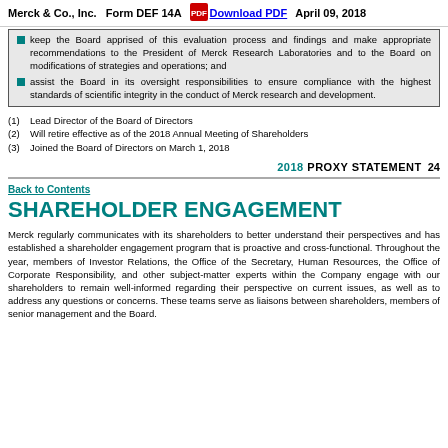Merck & Co., Inc.   Form DEF 14A   Download PDF   April 09, 2018
keep the Board apprised of this evaluation process and findings and make appropriate recommendations to the President of Merck Research Laboratories and to the Board on modifications of strategies and operations; and
assist the Board in its oversight responsibilities to ensure compliance with the highest standards of scientific integrity in the conduct of Merck research and development.
(1)   Lead Director of the Board of Directors
(2)   Will retire effective as of the 2018 Annual Meeting of Shareholders
(3)   Joined the Board of Directors on March 1, 2018
2018 PROXY STATEMENT   24
Back to Contents
SHAREHOLDER ENGAGEMENT
Merck regularly communicates with its shareholders to better understand their perspectives and has established a shareholder engagement program that is proactive and cross-functional. Throughout the year, members of Investor Relations, the Office of the Secretary, Human Resources, the Office of Corporate Responsibility, and other subject-matter experts within the Company engage with our shareholders to remain well-informed regarding their perspective on current issues, as well as to address any questions or concerns. These teams serve as liaisons between shareholders, members of senior management and the Board.